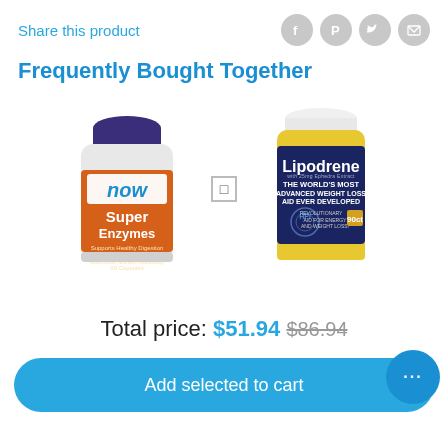Share this product
Frequently Bought Together
[Figure (photo): Two product images side by side: NOW Super Enzymes supplement bottle (left) and Lipodrene weight loss supplement bottle (right), separated by a plus sign checkbox]
Total price: $51.94  $86.94
Add selected to cart